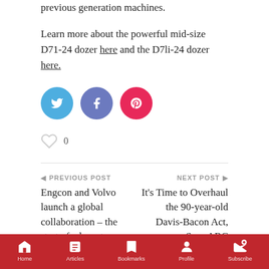previous generation machines.
Learn more about the powerful mid-size D71-24 dozer here and the D7li-24 dozer here.
[Figure (other): Three social share buttons: Twitter (blue circle), Facebook (blue-grey circle), Pinterest (red circle)]
0
PREVIOUS POST
Engcon and Volvo launch a global collaboration – the start of a long-term joint development in the industry
NEXT POST
It's Time to Overhaul the 90-year-old Davis-Bacon Act, Says ABC
Home   Articles   Bookmarks   Profile   Subscribe